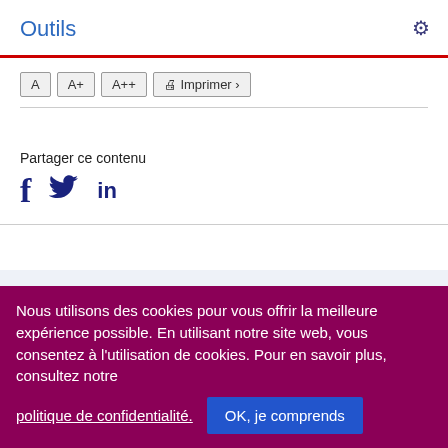Outils
A  A+  A++  Imprimer >
Partager ce contenu
[Figure (other): Social sharing icons: Facebook (f), Twitter (bird), LinkedIn (in)]
| Quand: |  |
| --- | --- |
| Quand: | 1 avril 2018 - 31 décembre 2021 |
Nous utilisons des cookies pour vous offrir la meilleure expérience possible. En utilisant notre site web, vous consentez à l'utilisation de cookies. Pour en savoir plus, consultez notre politique de confidentialité.